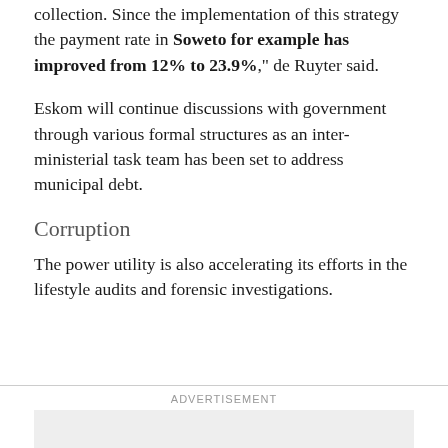collection. Since the implementation of this strategy the payment rate in Soweto for example has improved from 12% to 23.9%," de Ruyter said.
Eskom will continue discussions with government through various formal structures as an inter-ministerial task team has been set to address municipal debt.
Corruption
The power utility is also accelerating its efforts in the lifestyle audits and forensic investigations.
ADVERTISEMENT